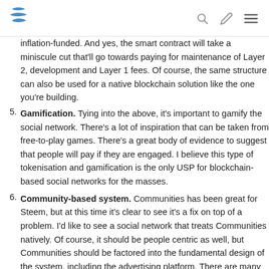Steem logo with search, edit, and menu icons
inflation-funded. And yes, the smart contract will take a miniscule cut that'll go towards paying for maintenance of Layer 2, development and Layer 1 fees. Of course, the same structure can also be used for a native blockchain solution like the one you're building.
5. Gamification. Tying into the above, it's important to gamify the social network. There's a lot of inspiration that can be taken from free-to-play games. There's a great body of evidence to suggest that people will pay if they are engaged. I believe this type of tokenisation and gamification is the only USP for blockchain-based social networks for the masses.
6. Community-based system. Communities has been great for Steem, but at this time it's clear to see it's a fix on top of a problem. I'd like to see a social network that treats Communities natively. Of course, it should be people centric as well, but Communities should be factored into the fundamental design of the system, including the advertising platform. There are many